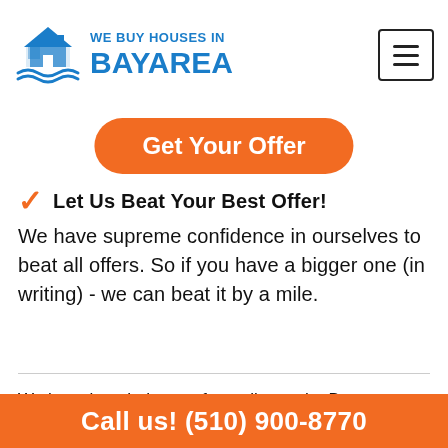[Figure (logo): We Buy Houses In Bay Area logo with house SVG icon and blue text]
Get Your Offer
Let Us Beat Your Best Offer!
We have supreme confidence in ourselves to beat all offers. So if you have a bigger one (in writing) - we can beat it by a mile.
We have bought homes from all over the Bay
Call us! (510) 900-8770